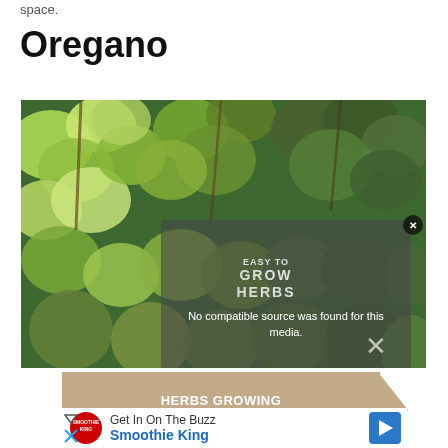space.
Oregano
[Figure (photo): Close-up photo of oregano plant with bright green and darker green leaves. A semi-transparent video player overlay shows the text 'EASY TO GROW HERBS' logo and the message 'No compatible source was found for this media.' with an X close button. Below the photo is an advertisement banner reading 'HERBS GROWING MADE SIMPLE' with a Smoothie King advertisement showing 'Get In On The Buzz' and 'Smoothie King' text.]
No compatible source was found for this media.
HERBS GROWING MADE SIMPLE
Get In On The Buzz
Smoothie King